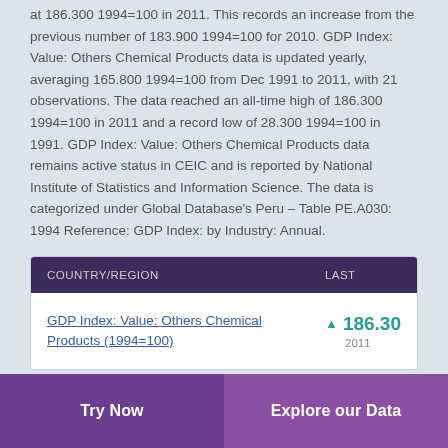at 186.300 1994=100 in 2011. This records an increase from the previous number of 183.900 1994=100 for 2010. GDP Index: Value: Others Chemical Products data is updated yearly, averaging 165.800 1994=100 from Dec 1991 to 2011, with 21 observations. The data reached an all-time high of 186.300 1994=100 in 2011 and a record low of 28.300 1994=100 in 1991. GDP Index: Value: Others Chemical Products data remains active status in CEIC and is reported by National Institute of Statistics and Information Science. The data is categorized under Global Database's Peru – Table PE.A030: 1994 Reference: GDP Index: by Industry: Annual.
| COUNTRY/REGION | LAST |
| --- | --- |
| GDP Index: Value: Others Chemical Products (1994=100) | ▲ 186.30
2011 |
Try Now    Explore our Data